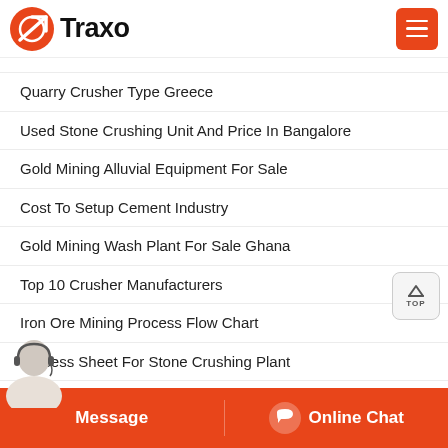Traxo
Quarry Crusher Type Greece
Used Stone Crushing Unit And Price In Bangalore
Gold Mining Alluvial Equipment For Sale
Cost To Setup Cement Industry
Gold Mining Wash Plant For Sale Ghana
Top 10 Crusher Manufacturers
Iron Ore Mining Process Flow Chart
Process Sheet For Stone Crushing Plant
Calcium Carbonate Grinder  Ghana Gold Mines Machinery
Coal Mill Spare Parts Supplier